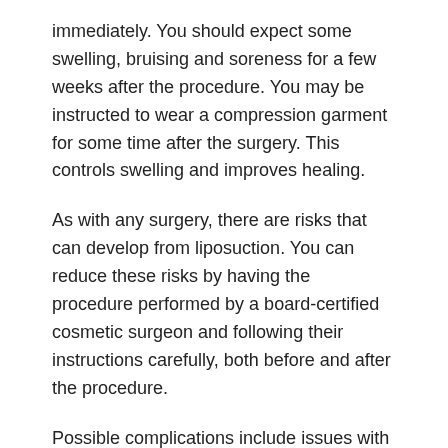immediately. You should expect some swelling, bruising and soreness for a few weeks after the procedure. You may be instructed to wear a compression garment for some time after the surgery. This controls swelling and improves healing.
As with any surgery, there are risks that can develop from liposuction. You can reduce these risks by having the procedure performed by a board-certified cosmetic surgeon and following their instructions carefully, both before and after the procedure.
Possible complications include issues with the anesthesia or lidocaine used during the procedure, bleeding, fluid accumulation, infection, shock, fat embolism, which is when small pieces of fat break apart and block the flow of blood, uneven removal of fat, changes in skin sensation and damage to nerves, and other blood vessels. The risks that the list of